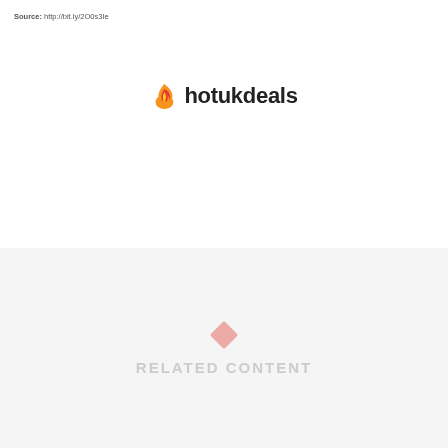Source: http://bit.ly/2O0s3Ie
[Figure (logo): hotukdeals logo with flame icon]
RELATED CONTENT